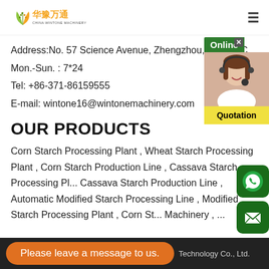[Figure (logo): China Wintone Machinery logo with Chinese characters and leaf/grain icon in green and yellow]
Address:No. 57 Science Avenue, Zhengzhou, Henan, C
Mon.-Sun. : 7*24
Tel: +86-371-86159555
E-mail: wintone16@wintonemachinery.com
OUR PRODUCTS
Corn Starch Processing Plant , Wheat Starch Processing Plant , Corn Starch Production Line , Cassava Starch Processing Pl... Cassava Starch Production Line , Automatic Modified Starch Processing Line , Modified Starch Processing Plant , Corn St... Machinery , ...
Please leave a message to us.  Technology Co., Ltd.